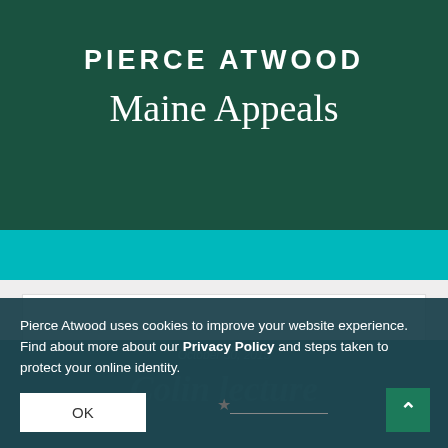PIERCE ATWOOD
Maine Appeals
[Figure (screenshot): Website screenshot showing Pierce Atwood law firm Maine Appeals page with dark green header, teal navigation bar, light gray content area with white card, and teal lower section with watermark text 'Colin lecture' and date October 30, 2015]
Pierce Atwood uses cookies to improve your website experience. Find about more about our Privacy Policy and steps taken to protect your online identity.
OK